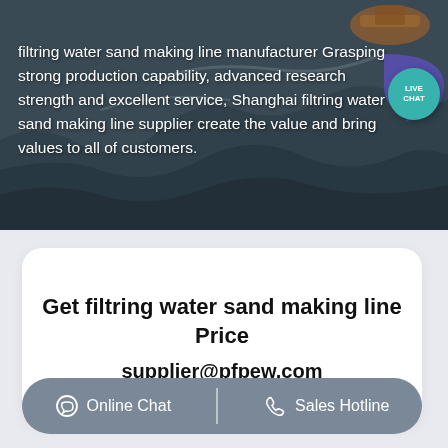[Figure (photo): Aerial view of a mining or quarrying site with heavy machinery (orange excavator visible top right), rocky terrain in dark blue-grey tones, with white text overlay and a teal Live Chat button.]
filtring water sand making line manufacturer Grasping strong production capability, advanced research strength and excellent service, Shanghai filtring water sand making line supplier create the value and bring values to all of customers.
Get filtring water sand making line Price
supplier@pfpew.com
Online Chat
Sales Hotline